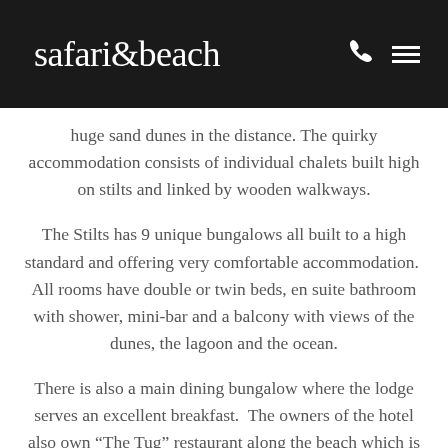safari&beach
huge sand dunes in the distance. The quirky accommodation consists of individual chalets built high on stilts and linked by wooden walkways.
The Stilts has 9 unique bungalows all built to a high standard and offering very comfortable accommodation.  All rooms have double or twin beds, en suite bathroom with shower, mini-bar and a balcony with views of the dunes, the lagoon and the ocean.
There is also a main dining bungalow where the lodge serves an excellent breakfast.  The owners of the hotel also own "The Tug" restaurant along the beach which is a fantastic seafood restaurant for dinner and